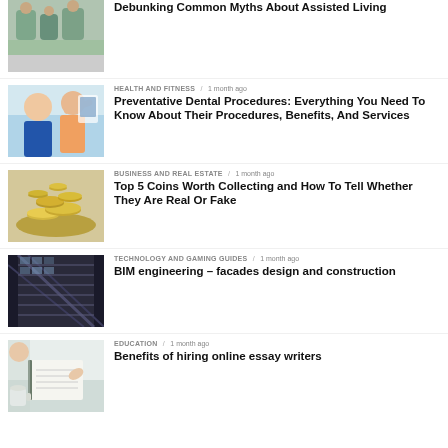[Figure (photo): Partial article thumbnail - people in a living/care setting]
Debunking Common Myths About Assisted Living
[Figure (photo): Doctor or healthcare provider with patient]
HEALTH AND FITNESS / 1 month ago
Preventative Dental Procedures: Everything You Need To Know About Their Procedures, Benefits, And Services
[Figure (photo): Pile of coins]
BUSINESS AND REAL ESTATE / 1 month ago
Top 5 Coins Worth Collecting and How To Tell Whether They Are Real Or Fake
[Figure (photo): Modern glass building facade]
TECHNOLOGY AND GAMING GUIDES / 1 month ago
BIM engineering – facades design and construction
[Figure (photo): Person writing in notebook with coffee]
EDUCATION / 1 month ago
Benefits of hiring online essay writers